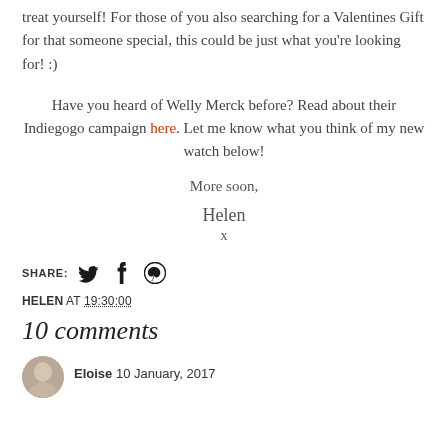treat yourself! For those of you also searching for a Valentines Gift for that someone special, this could be just what you're looking for! :)
Have you heard of Welly Merck before? Read about their Indiegogo campaign here. Let me know what you think of my new watch below!
More soon,
Helen
x
SHARE: [Twitter] [Facebook] [Pinterest]
HELEN AT 19:30:00
10 comments
Eloise 10 January, 2017